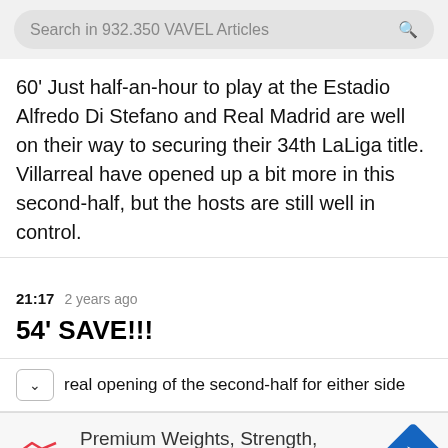Search in 932.350 VAVEL Articles
60' Just half-an-hour to play at the Estadio Alfredo Di Stefano and Real Madrid are well on their way to securing their 34th LaLiga title. Villarreal have opened up a bit more in this second-half, but the hosts are still well in control.
21:17  2 years ago
54' SAVE!!!
real opening of the second-half for either side
[Figure (infographic): LA Fitness advertisement: Premium Weights, Strength, And Cardio Equipment with LA Fitness logo and navigation arrow icon]